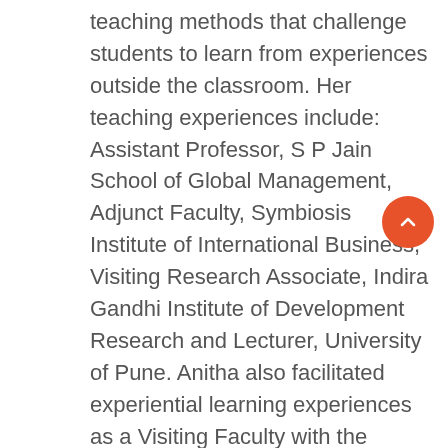teaching methods that challenge students to learn from experiences outside the classroom. Her teaching experiences include: Assistant Professor, S P Jain School of Global Management, Adjunct Faculty, Symbiosis Institute of International Business, Visiting Research Associate, Indira Gandhi Institute of Development Research and Lecturer, University of Pune. Anitha also facilitated experiential learning experiences as a Visiting Faculty with the Alliance for Global Education, an organization that delivers study abroad programs for students from US Universities in